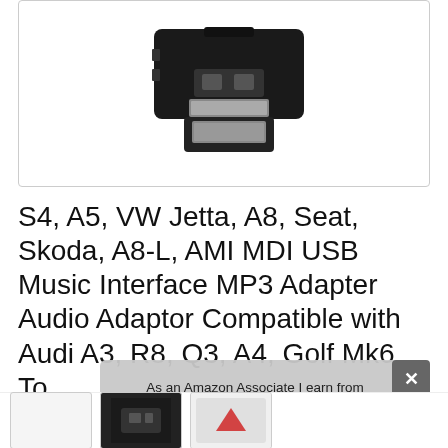[Figure (photo): Black USB/AMI MDI connector adapter on white background, showing connector plug with metallic contacts]
S4, A5, VW Jetta, A8, Seat, Skoda, A8-L, AMI MDI USB Music Interface MP3 Adapter Audio Adaptor Compatible with Audi A3, R8, Q3, A4, Golf Mk6, To Q5
As an Amazon Associate I earn from qualifying purchases. This website uses the only necessary cookies to ensure you get the best experience on our website. More information
[Figure (photo): Thumbnail product images at the bottom of the page]